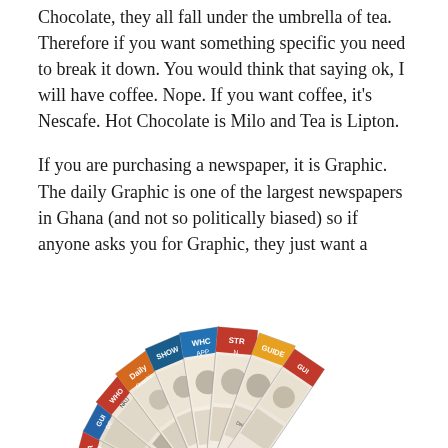Chocolate, they all fall under the umbrella of tea. Therefore if you want something specific you need to break it down. You would think that saying ok, I will have coffee. Nope. If you want coffee, it's Nescafe. Hot Chocolate is Milo and Tea is Lipton.
If you are purchasing a newspaper, it is Graphic. The daily Graphic is one of the largest newspapers in Ghana (and not so politically biased) so if anyone asks you for Graphic, they just want a newspaper.
[Figure (photo): A fan-spread arrangement of multiple newspapers, showing various newspaper front pages fanned out in a circular arc, with visible masthead text including WHO, GUIDE, and other partial headlines.]